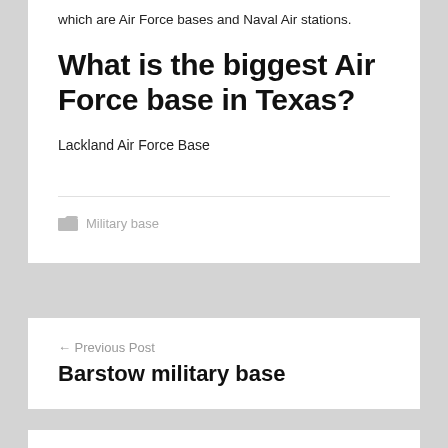which are Air Force bases and Naval Air stations.
What is the biggest Air Force base in Texas?
Lackland Air Force Base
Military base
← Previous Post
Barstow military base